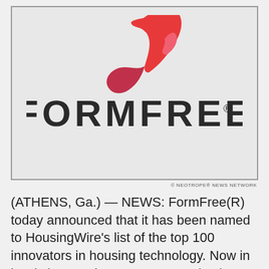[Figure (logo): FormFree company logo on light gray background with red swoosh/bird figure above the word FORMFREE in dark letters with registered trademark symbol]
© NEOTROPE® NEWS NETWORK
(ATHENS, Ga.) — NEWS: FormFree(R) today announced that it has been named to HousingWire's list of the top 100 innovators in housing technology. Now in its sixth year, the HW TECH100(TM) awards program honors leading technology companies in all sectors of the U.S. housing economy, including